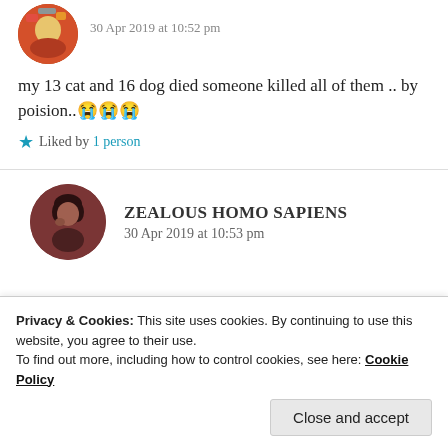[Figure (photo): Circular avatar image, colorful illustration style, top of page]
30 Apr 2019 at 10:52 pm
my 13 cat and 16 dog died someone killed all of them .. by poision..😭😭😭
★ Liked by 1 person
[Figure (photo): Circular avatar photo of a person with dark hair, brownish-red tone]
ZEALOUS HOMO SAPIENS
30 Apr 2019 at 10:53 pm
Privacy & Cookies: This site uses cookies. By continuing to use this website, you agree to their use.
To find out more, including how to control cookies, see here: Cookie Policy
Close and accept